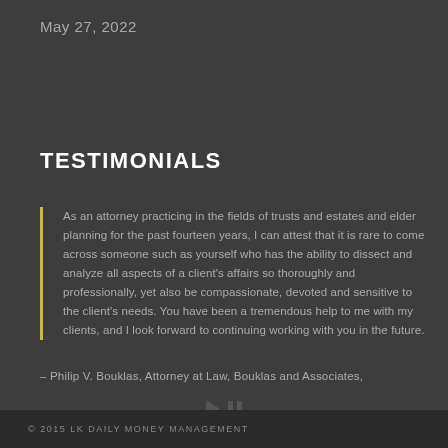May 27, 2022
TESTIMONIALS
As an attorney practicing in the fields of trusts and estates and elder planning for the past fourteen years, I can attest that it is rare to come across someone such as yourself who has the ability to dissect and analyze all aspects of a client's affairs so thoroughly and professionally, yet also be compassionate, devoted and sensitive to the client's needs. You have been a tremendous help to me with my clients, and I look forward to continuing working with you in the future.
– Philip V. Bouklas, Attorney at Law, Bouklas and Associates,
© 2015 LK DAILY MONEY MANAGEMENT